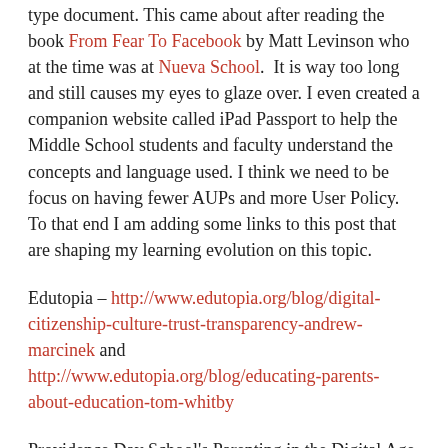type document. This came about after reading the book From Fear To Facebook by Matt Levinson who at the time was at Nueva School.  It is way too long and still causes my eyes to glaze over. I even created a companion website called iPad Passport to help the Middle School students and faculty understand the concepts and language used. I think we need to be focus on having fewer AUPs and more User Policy. To that end I am adding some links to this post that are shaping my learning evolution on this topic.
Edutopia – http://www.edutopia.org/blog/digital-citizenship-culture-trust-transparency-andrew-marcinek and http://www.edutopia.org/blog/educating-parents-about-education-tom-whitby
Providence Day School's Parenting in the Digital Age site: https://sites.google.com/a/providenceday.org/digitalparenting/home This site is full of useful and practical